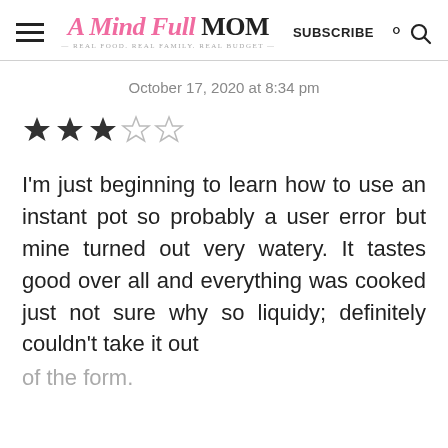A Mind Full Mom — REAL FOOD. REAL FAMILY. REAL BUDGET. — SUBSCRIBE
October 17, 2020 at 8:34 pm
[Figure (other): 3-star rating shown as 3 filled stars and 2 empty stars]
I'm just beginning to learn how to use an instant pot so probably a user error but mine turned out very watery. It tastes good over all and everything was cooked just not sure why so liquidy; definitely couldn't take it out of the form.